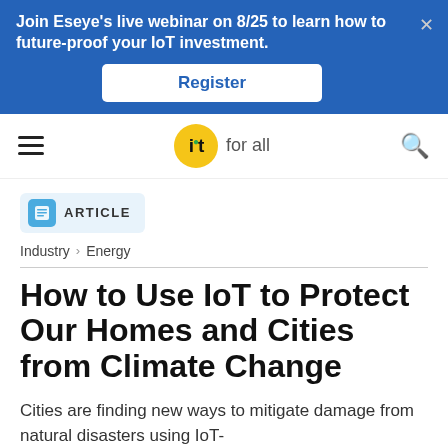Join Eseye's live webinar on 8/25 to learn how to future-proof your IoT investment. Register
[Figure (logo): IoT for all logo in navigation bar with hamburger menu and search icon]
ARTICLE
Industry > Energy
How to Use IoT to Protect Our Homes and Cities from Climate Change
Cities are finding new ways to mitigate damage from natural disasters using IoT-